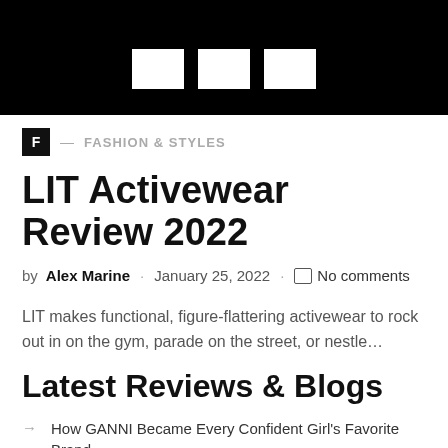[Figure (other): Black header banner with white letters spelling LIT]
F — FASHION & STYLES
LIT Activewear Review 2022
by Alex Marine · January 25, 2022 · No comments
LIT makes functional, figure-flattering activewear to rock out in on the gym, parade on the street, or nestle…
Latest Reviews & Blogs
How GANNI Became Every Confident Girl's Favorite Brand